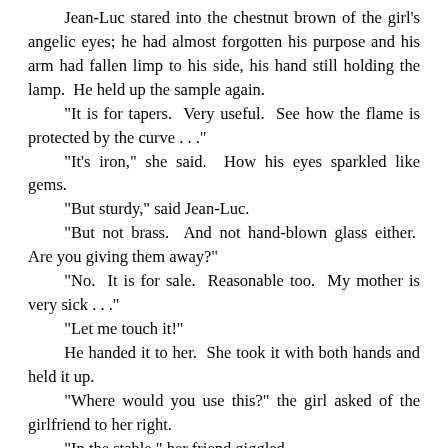Jean-Luc stared into the chestnut brown of the girl's angelic eyes; he had almost forgotten his purpose and his arm had fallen limp to his side, his hand still holding the lamp. He held up the sample again. "It is for tapers. Very useful. See how the flame is protected by the curve . . ." "It's iron," she said. How his eyes sparkled like gems. "But sturdy," said Jean-Luc. "But not brass. And not hand-blown glass either. Are you giving them away?" "No. It is for sale. Reasonable too. My mother is very sick . . ." "Let me touch it!" He handed it to her. She took it with both hands and held it up. "Where would you use this?" the girl asked of the girlfriend to her right. "In the stable," her friend giggled. "Exactly," the girl said. She had angered as she realized the folly of her emotions. This boy had robbed